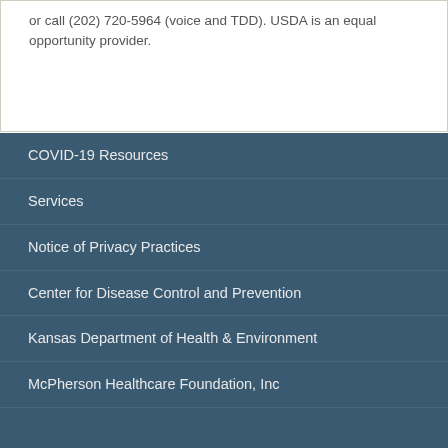or call (202) 720-5964 (voice and TDD). USDA is an equal opportunity provider.
COVID-19 Resources
Services
Notice of Privacy Practices
Center for Disease Control and Prevention
Kansas Department of Health & Environment
McPherson Healthcare Foundation, Inc